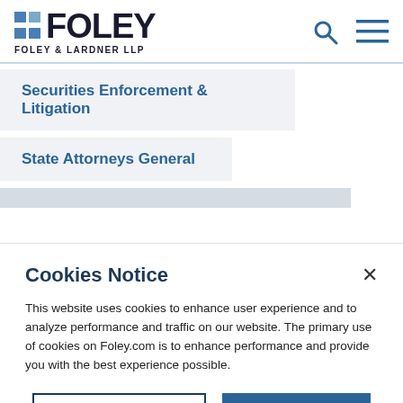[Figure (logo): Foley & Lardner LLP logo with blue squares and bold FOLEY text]
Securities Enforcement & Litigation
State Attorneys General
Cookies Notice
This website uses cookies to enhance user experience and to analyze performance and traffic on our website. The primary use of cookies on Foley.com is to enhance performance and provide you with the best experience possible.